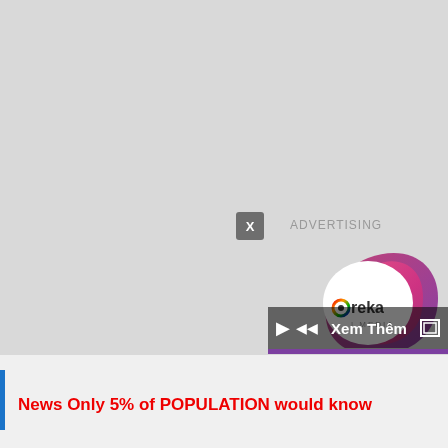[Figure (screenshot): Advertisement area with Ureka Media logo — a pink and purple swirl design with 'Ureka | MEDIA' text, video controls bar showing play button, volume, 'Xem Thêm' label, and expand icon. A grey 'X' close button and 'ADVERTISING' label are shown above the ad. A purple progress bar is below.]
News Only 5% of POPULATION would know